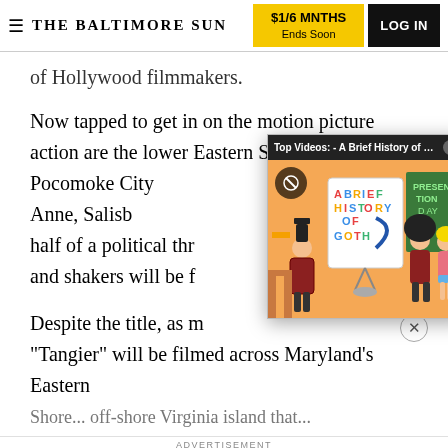THE BALTIMORE SUN | $1/6 MNTHS Ends Soon | LOG IN
of Hollywood filmmakers.
Now tapped to get in on the motion picture action are the lower Eastern Shore towns of Pocomoke City Princess Anne, Salisb... half of a political thr... and shakers will be f...
[Figure (screenshot): Video popup overlay: Top Videos - A Brief History of Goth Te... with animated cartoon illustration showing characters in a classroom with a whiteboard reading 'A Brief History of Goth']
Despite the title, as m... "Tangier" will be filmed across Maryland's Eastern Shore... off-shore Virginia island that...
ADVERTISEMENT
[Figure (logo): Tribune Publishing advertisement logo in blue border box]